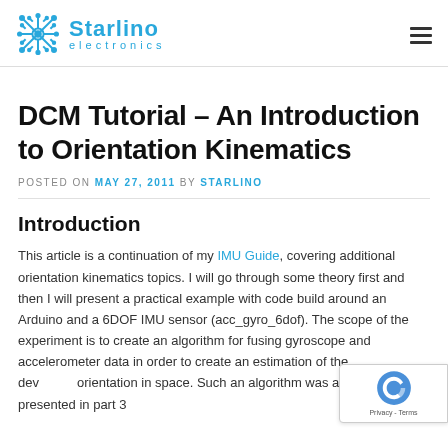Starlino electronics
DCM Tutorial – An Introduction to Orientation Kinematics
POSTED ON MAY 27, 2011 BY STARLINO
Introduction
This article is a continuation of my IMU Guide, covering additional orientation kinematics topics. I will go through some theory first and then I will present a practical example with code build around an Arduino and a 6DOF IMU sensor (acc_gyro_6dof). The scope of the experiment is to create an algorithm for fusing gyroscope and accelerometer data in order to create an estimation of the device orientation in space. Such an algorithm was already presented in part 3.